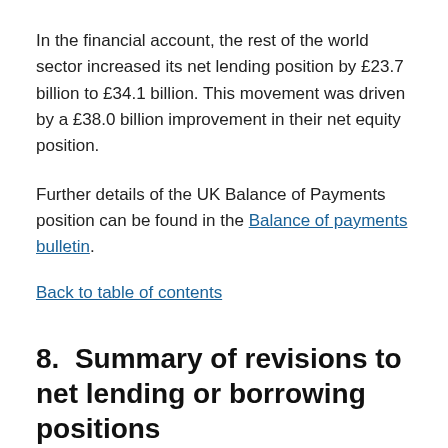In the financial account, the rest of the world sector increased its net lending position by £23.7 billion to £34.1 billion. This movement was driven by a £38.0 billion improvement in their net equity position.
Further details of the UK Balance of Payments position can be found in the Balance of payments bulletin.
Back to table of contents
8.  Summary of revisions to net lending or borrowing positions
A summary of revisions in the quarters open to revisions (Quarter 1 (Jan to Mar) 2017 to Quarter 2 (Apr